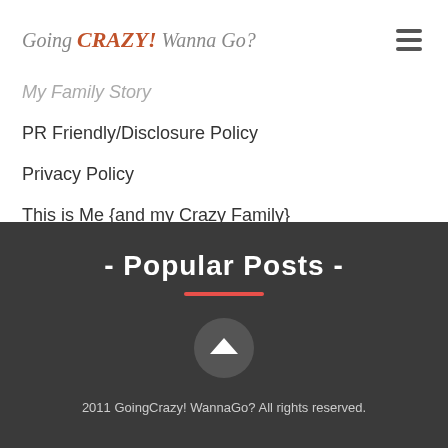Going CRAZY! Wanna Go?
My Family Story
PR Friendly/Disclosure Policy
Privacy Policy
This is Me {and my Crazy Family}
- Popular Posts -
2011 GoingCrazy! WannaGo? All rights reserved.